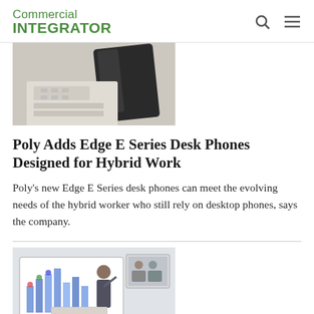Commercial INTEGRATOR
[Figure (photo): Close-up photo of desk phones/telephone handsets stacked or overlapping, showing dark handset against light background]
Poly Adds Edge E Series Desk Phones Designed for Hybrid Work
Poly's new Edge E Series desk phones can meet the evolving needs of the hybrid worker who still rely on desktop phones, says the company.
[Figure (photo): Photo of a person presenting in front of a large display screen showing a bar chart, with a video conference screen visible to the right, and a laptop in the foreground]